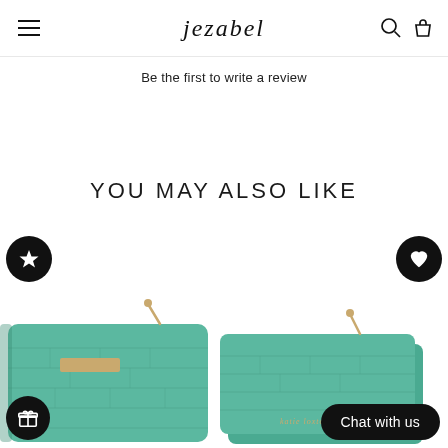jezabel
Be the first to write a review
YOU MAY ALSO LIKE
[Figure (photo): Two teal/mint green croc-embossed leather pouches/clutches with gold zipper pulls displayed side by side. Left pouch is a larger square clutch with a gold logo tag. Right is a wider, flatter wallet-style pouch.]
Chat with us